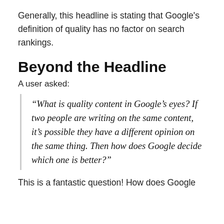Generally, this headline is stating that Google's definition of quality has no factor on search rankings.
Beyond the Headline
A user asked:
“What is quality content in Google’s eyes? If two people are writing on the same content, it’s possible they have a different opinion on the same thing. Then how does Google decide which one is better?”
This is a fantastic question! How does Google